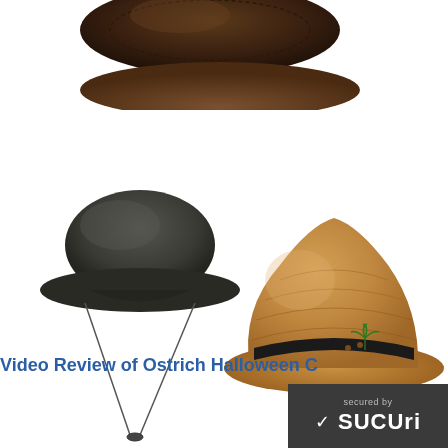[Figure (photo): Top portion of a dark brown leather cowboy/safari hat cropped at the top of the page]
[Figure (photo): Dark olive/black boonie hat with chin cord strap hanging down, shown on white background]
[Figure (photo): Tan/golden straw pith helmet with black band and small palm tree decoration, shown on white background]
Video Review of Ostrich Halloween C
[Figure (logo): Sucuri security badge — dark grey background with checkmark icon and 'secured by SUCURI' text in white]